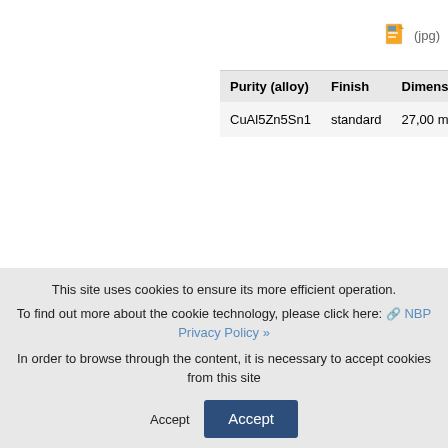[Figure (other): JPG file icon with (jpg) label, top right of right panel]
| Purity (alloy) | Finish | Dimensio... |
| --- | --- | --- |
| CuAl5Zn5Sn1 | standard | 27,00 mm |
Elbląg
| Elbląg |
| --- |
|  |
[Figure (photo): Partial view of a coin with text LITA R... visible]
This site uses cookies to ensure its more efficient operation.
To find out more about the cookie technology, please click here: NBP Privacy Policy »
In order to browse through the content, it is necessary to accept cookies from this site
Accept